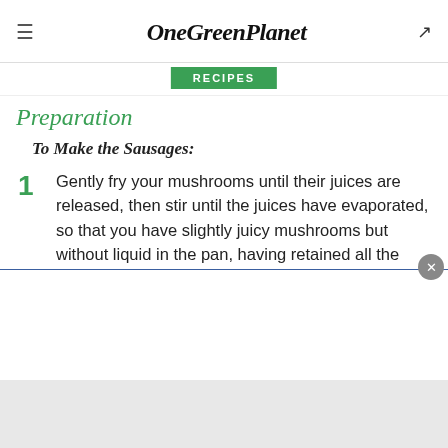OneGreenPlanet — RECIPES
Preparation
To Make the Sausages:
1 Gently fry your mushrooms until their juices are released, then stir until the juices have evaporated, so that you have slightly juicy mushrooms but without liquid in the pan, having retained all the flavors.